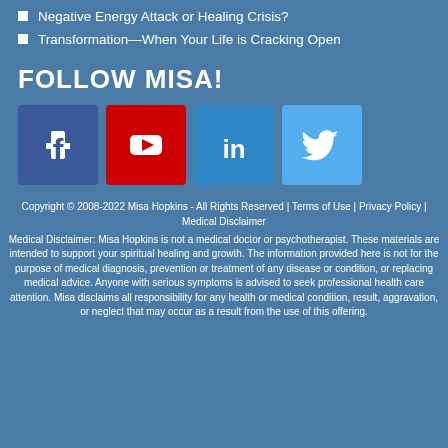Negative Energy Attack or Healing Crisis?
Transformation—When Your Life is Cracking Open
FOLLOW MISA!
[Figure (illustration): Four social media icons: Facebook (dark blue), YouTube (red), LinkedIn (blue), Twitter (light blue)]
Copyright © 2008-2022 Misa Hopkins - All Rights Reserved | Terms of Use | Privacy Policy | Medical Disclaimer
Medical Disclaimer: Misa Hopkins is not a medical doctor or psychotherapist. These materials are intended to support your spiritual healing and growth. The information provided here is not for the purpose of medical diagnosis, prevention or treatment of any disease or condition, or replacing medical advice. Anyone with serious symptoms is advised to seek professional health care attention. Misa disclaims all responsibility for any health or medical condition, result, aggravation, or neglect that may occur as a result from the use of this offering.